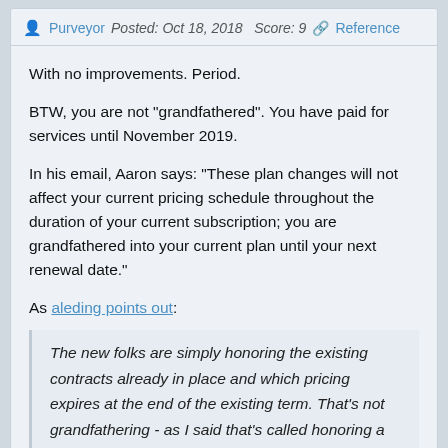Purveyor   Posted: Oct 18, 2018   Score: 9   🔗 Reference
With no improvements. Period.

BTW, you are not "grandfathered". You have paid for services until November 2019.

In his email, Aaron says: "These plan changes will not affect your current pricing schedule throughout the duration of your current subscription; you are grandfathered into your current plan until your next renewal date."

As aleding points out:
The new folks are simply honoring the existing contracts already in place and which pricing expires at the end of the existing term. That's not grandfathering - as I said that's called honoring a contract. To not do so would be a breach and possibly lead to litigation.